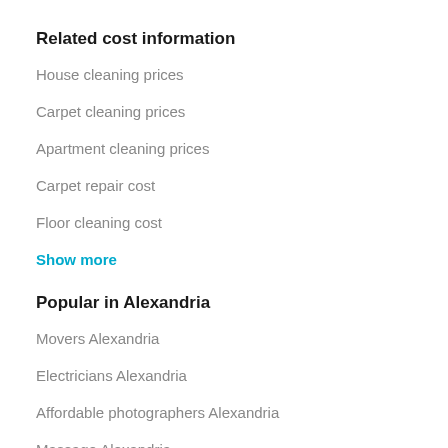Related cost information
House cleaning prices
Carpet cleaning prices
Apartment cleaning prices
Carpet repair cost
Floor cleaning cost
Show more
Popular in Alexandria
Movers Alexandria
Electricians Alexandria
Affordable photographers Alexandria
Massage Alexandria
Mobile notary Alexandria